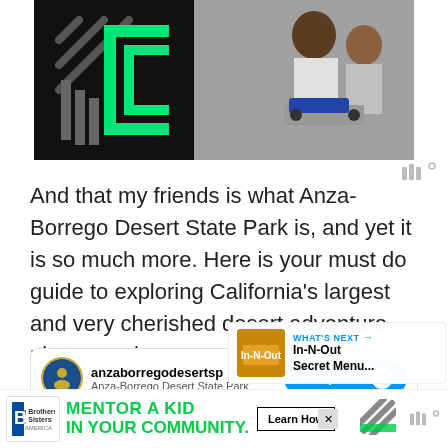[Figure (screenshot): Advertisement banner showing a green bracket/logo on dark background on the left, and a photo of two people (adult and child) working on a robotics project on the right. Wired logo appears at bottom right of banner.]
And that my friends is what Anza-Borrego Desert State Park is, and yet it is so much more. Here is your must do guide to exploring California's largest and very cherished desert adventure playground.
[Figure (screenshot): Instagram-like social media embed card for 'anzaborregodesertsp' (Anza-Borrego Desert State Park) with a View profile button and share icon. Below the header is a gray content area with a 'What's Next' panel showing In-N-Out Secret Menu link.]
[Figure (screenshot): Bottom advertisement banner for Big Brothers Big Sisters: 'MENTOR A KID IN YOUR COMMUNITY.' with a Learn How button, decorative stripes, close X button, and Wired logo.]